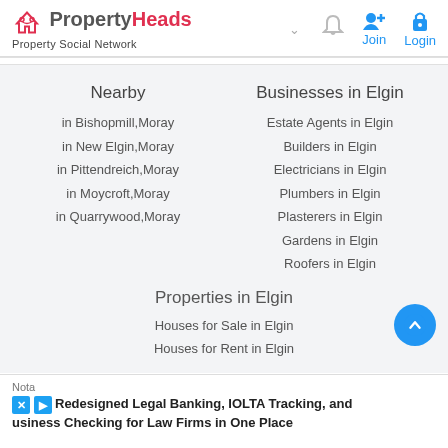PropertyHeads - Property Social Network
Nearby
in Bishopmill,Moray
in New Elgin,Moray
in Pittendreich,Moray
in Moycroft,Moray
in Quarrywood,Moray
Businesses in Elgin
Estate Agents in Elgin
Builders in Elgin
Electricians in Elgin
Plumbers in Elgin
Plasterers in Elgin
Gardens in Elgin
Roofers in Elgin
Properties in Elgin
Houses for Sale in Elgin
Houses for Rent in Elgin
Nota - Redesigned Legal Banking, IOLTA Tracking, and Business Checking for Law Firms in One Place